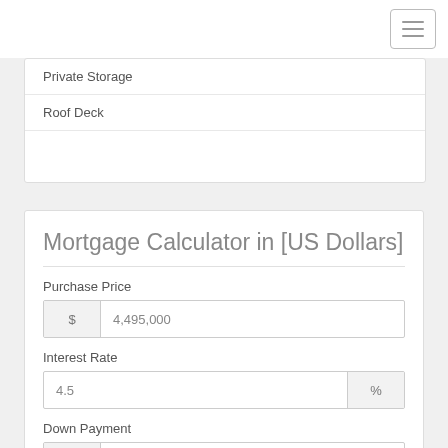[Figure (screenshot): Hamburger menu button (three horizontal lines) in top-right corner]
Private Storage
Roof Deck
Mortgage Calculator in [US Dollars]
Purchase Price
$ 4,495,000
Interest Rate
4.5 %
Down Payment
$ 449,500